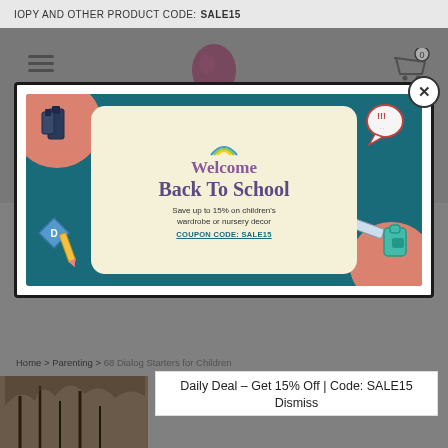IOPY AND OTHER PRODUCT CODE: SALE15
[Figure (screenshot): Website screenshot showing a back-to-school promotional popup modal over a shopping website. The modal contains a banner with 'Welcome Back To School' text and a coupon code SALE15 offering 15% off children's wardrobe or nursery decor. Below the modal is a breadcrumb navigation (Home > Parenting > 68 Dialog Starters for Children) and a daily deal notification.]
Daily Deal – Get 15% Off | Code: SALE15
Dismiss